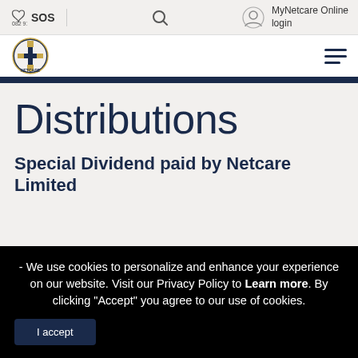082 911  SOS  [search]  MyNetcare Online login
[Figure (logo): Netcare logo — circular badge with navy and gold cross/H emblem and 'NETCARE' text]
Distributions
Special Dividend paid by Netcare Limited
- We use cookies to personalize and enhance your experience on our website. Visit our Privacy Policy to Learn more. By clicking "Accept" you agree to our use of cookies.